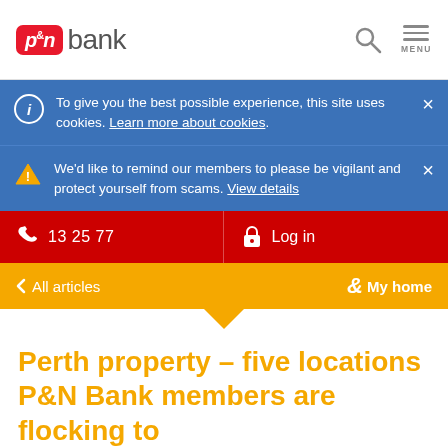P&N Bank — header with search and menu icons
To give you the best possible experience, this site uses cookies. Learn more about cookies.
We'd like to remind our members to please be vigilant and protect yourself from scams. View details
13 25 77  Log in
< All articles   & My home
Perth property – five locations P&N Bank members are flocking to
Share via